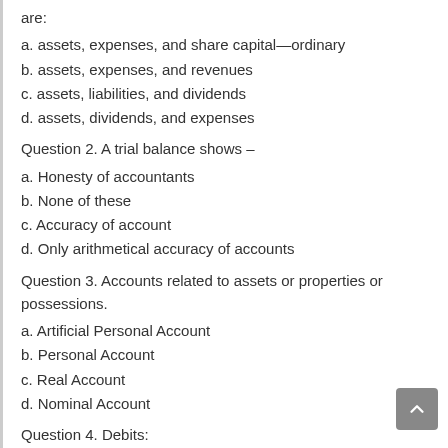are:
a. assets, expenses, and share capital—ordinary
b. assets, expenses, and revenues
c. assets, liabilities, and dividends
d. assets, dividends, and expenses
Question 2. A trial balance shows –
a. Honesty of accountants
b. None of these
c. Accuracy of account
d. Only arithmetical accuracy of accounts
Question 3. Accounts related to assets or properties or possessions.
a. Artificial Personal Account
b. Personal Account
c. Real Account
d. Nominal Account
Question 4. Debits: